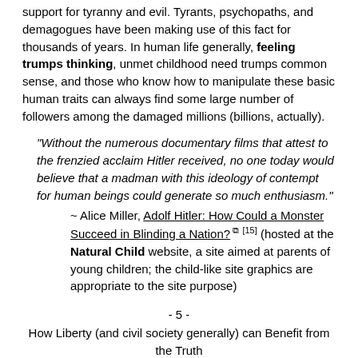support for tyranny and evil. Tyrants, psychopaths, and demagogues have been making use of this fact for thousands of years. In human life generally, feeling trumps thinking, unmet childhood need trumps common sense, and those who know how to manipulate these basic human traits can always find some large number of followers among the damaged millions (billions, actually).
"Without the numerous documentary films that attest to the frenzied acclaim Hitler received, no one today would believe that a madman with this ideology of contempt for human beings could generate so much enthusiasm."
~ Alice Miller, Adolf Hitler: How Could a Monster Succeed in Blinding a Nation? [15] (hosted at the Natural Child website, a site aimed at parents of young children; the child-like site graphics are appropriate to the site purpose)
- 5 -
How Liberty (and civil society generally) can Benefit from the Truth
For the freedom movement, there is good news in all this – if we can break free of the crippling Left-Right paradigm. Love and freedom are truly one entity, a yin/yang like